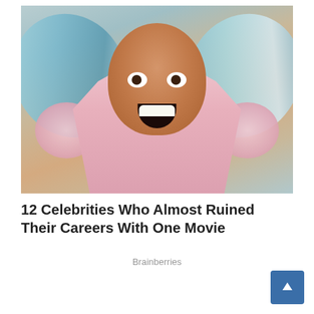[Figure (photo): A muscular man wearing a pink puff-sleeved fairy costume with blue translucent wings, laughing with mouth wide open, looking at the camera from below]
12 Celebrities Who Almost Ruined Their Careers With One Movie
Brainberries